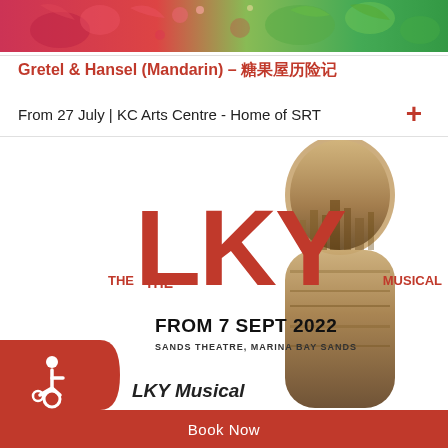[Figure (illustration): Colorful decorative banner with illustrated tropical/festive scene in red, pink, and green tones]
Gretel & Hansel (Mandarin) – 糖果屋历险记
From 27 July | KC Arts Centre - Home of SRT
[Figure (photo): LKY Musical promotional poster showing a silhouette of a person's profile overlaid with a cityscape, with large red 'LKY' letters and text 'THE LKY MUSICAL', 'FROM 7 SEPT 2022', 'SANDS THEATRE, MARINA BAY SANDS']
[Figure (illustration): Wheelchair accessibility icon in white on red background]
LKY Musical
Book Now